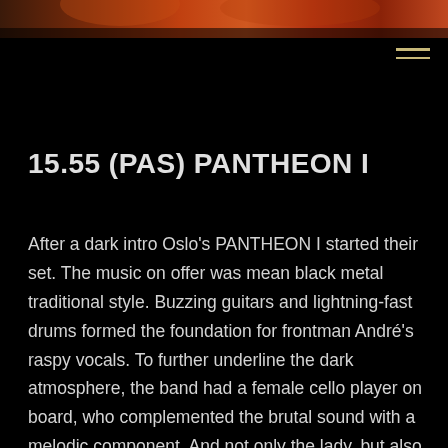[Figure (photo): Top strip of a concert/band photo with warm orange and red tones, partially visible at the top of the page]
15.55 (PAS) PANTHEON I
After a dark intro Oslo's PANTHEON I started their set. The music on offer was mean black metal traditional style. Buzzing guitars and lightning-fast drums formed the foundation for frontman André's raspy vocals. To further underline the dark atmosphere, the band had a female cello player on board, who complemented the brutal sound with a melodic component. And not only the lady, but also her cello